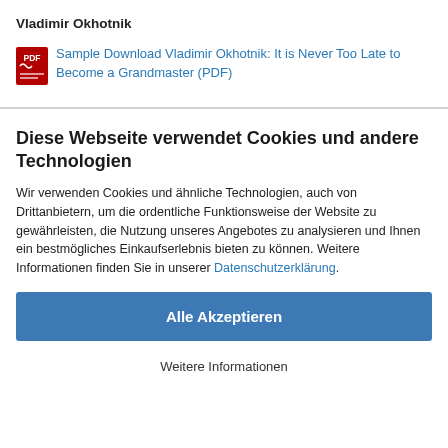Vladimir Okhotnik
Sample Download Vladimir Okhotnik: It is Never Too Late to Become a Grandmaster (PDF)
Diese Webseite verwendet Cookies und andere Technologien
Wir verwenden Cookies und ähnliche Technologien, auch von Drittanbietern, um die ordentliche Funktionsweise der Website zu gewährleisten, die Nutzung unseres Angebotes zu analysieren und Ihnen ein bestmögliches Einkaufserlebnis bieten zu können. Weitere Informationen finden Sie in unserer Datenschutzerklärung.
Alle Akzeptieren
Weitere Informationen